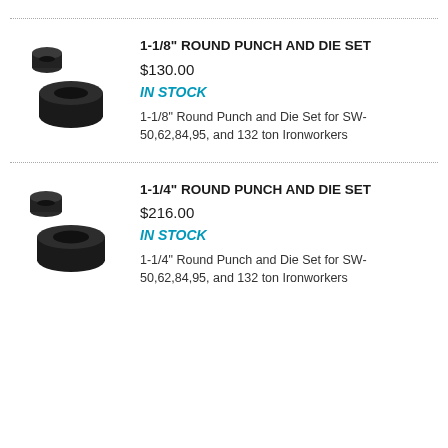[Figure (photo): Black round punch and die set metal parts]
1-1/8" ROUND PUNCH AND DIE SET
$130.00
IN STOCK
1-1/8" Round Punch and Die Set for SW-50,62,84,95, and 132 ton Ironworkers
[Figure (photo): Black round punch and die set metal parts]
1-1/4" ROUND PUNCH AND DIE SET
$216.00
IN STOCK
1-1/4" Round Punch and Die Set for SW-50,62,84,95, and 132 ton Ironworkers